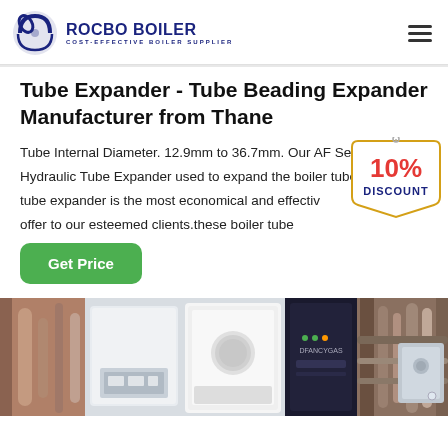[Figure (logo): Rocbo Boiler logo with circular icon and text 'ROCBO BOILER - COST-EFFECTIVE BOILER SUPPLIER']
Tube Expander - Tube Beading Expander Manufacturer from Thane
Tube Internal Diameter. 12.9mm to 36.7mm. Our AF Series Hydraulic Tube Expander used to expand the boiler tube. The boiler tube expander is the most economical and effective that we offer to our esteemed clients.these boiler tube
[Figure (illustration): 10% DISCOUNT badge/sticker overlaid on the text area]
[Figure (photo): Industrial boiler equipment photograph showing boiler units and pipe systems]